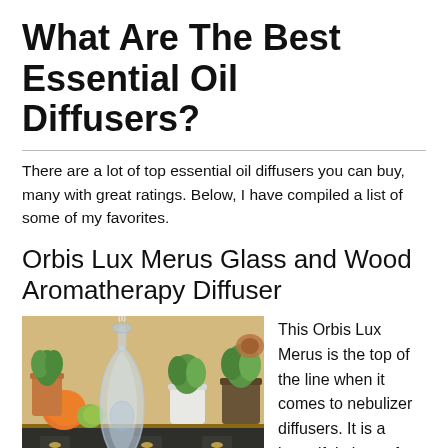What Are The Best Essential Oil Diffusers?
There are a lot of top essential oil diffusers you can buy, many with great ratings. Below, I have compiled a list of some of my favorites.
Orbis Lux Merus Glass and Wood Aromatherapy Diffuser
[Figure (photo): Photo of the Orbis Lux Merus glass and wood aromatherapy diffuser on a wooden base, surrounded by lavender flowers and small essential oil bottles, with potted plants and fruits in the background.]
This Orbis Lux Merus is the top of the line when it comes to nebulizer diffusers. It is a beautiful piece of